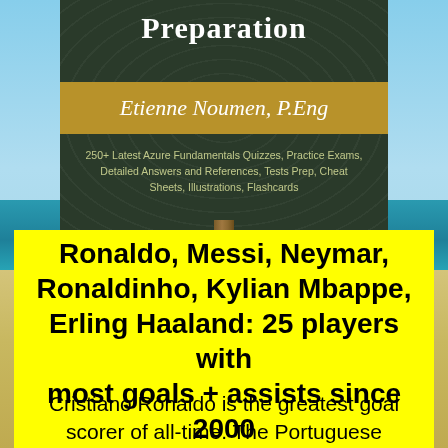Preparation
Etienne Noumen, P.Eng
250+ Latest Azure Fundamentals Quizzes, Practice Exams, Detailed Answers and References, Tests Prep, Cheat Sheets, Illustrations, Flashcards
Ronaldo, Messi, Neymar, Ronaldinho, Kylian Mbappe, Erling Haaland: 25 players with most goals + assists since 2000
Cristiano Ronaldo is the greatest goal scorer of all-time. The Portuguese